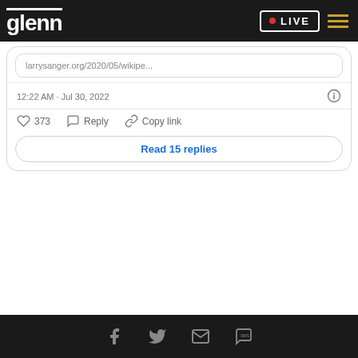glenn · LIVE
larrysanger.org/2020/05/wikipe...
12:22 AM · Jul 30, 2022
♡ 373   Reply   Copy link
Read 15 replies
Facebook Twitter Email SMS